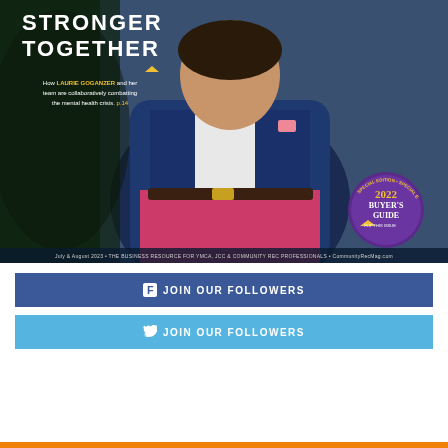[Figure (photo): Magazine cover of Community Rec Magazine, July & August 2023 issue. Shows a person in a navy blazer with pink pants. Title reads 'STRONGER TOGETHER'. Subtitle: 'How LAURIE GOGANZER and her team are collaboratively combatting the mental health crisis. p.14'. A 2022 Buyer's Guide badge is visible in the bottom right. Footer: 'July & August 2023 · THE BUSINESS RESOURCE FOR YMCA, JCC & COMMUNITY REC PROFESSIONALS · CommunityRecMag.com']
JOIN OUR FOLLOWERS (Facebook)
JOIN OUR FOLLOWERS (Twitter)